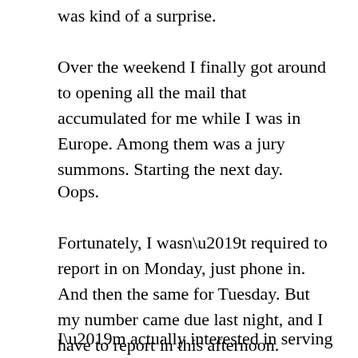was kind of a surprise.
Over the weekend I finally got around to opening all the mail that accumulated for me while I was in Europe. Among them was a jury summons. Starting the next day.
Oops.
Fortunately, I wasn’t required to report in on Monday, just phone in. And then the same for Tuesday. But my number came due last night, and I have to report in this afternoon.
I’m actually interested in serving on a jury. It’s a civic duty, and beyond that, if a “jury of